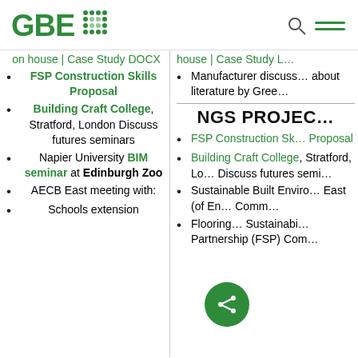GBE [logo with dots]
on house | Case Study DOCX
FSP Construction Skills Proposal
Building Craft College, Stratford, London Discuss futures seminars
Napier University BIM seminar at Edinburgh Zoo
AECB East meeting with:
Schools extension
house | Case Study L...
Manufacturer discuss... about literature by Gree...
NGS PROJEC...
FSP Construction Sk... Proposal
Building Craft College, Stratford, Lo... Discuss futures semi...
Sustainable Built Enviro... East (of En... Comm...
Flooring... Sustainabi... Partnership (FSP) Com...